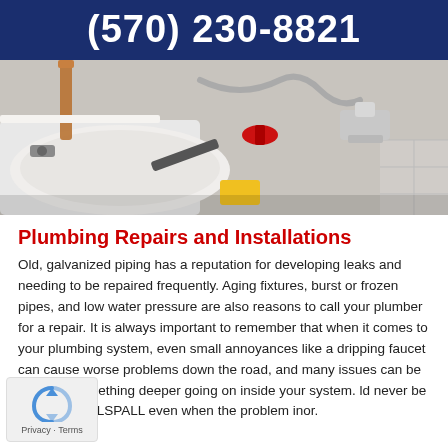(570) 230-8821
[Figure (photo): Close-up photo of a bathroom sink with various plumbing tools, pipes, fittings and fixtures scattered around including red valve, chrome fittings, flexible hose, and yellow tape]
Plumbing Repairs and Installations
Old, galvanized piping has a reputation for developing leaks and needing to be repaired frequently. Aging fixtures, burst or frozen pipes, and low water pressure are also reasons to call your plumber for a repair. It is always important to remember that when it comes to your plumbing system, even small annoyances like a dripping faucet can cause worse problems down the road, and many issues can be a sign of something deeper going on inside your system. ld never be afraid to CALLSPALL even when the problem inor.